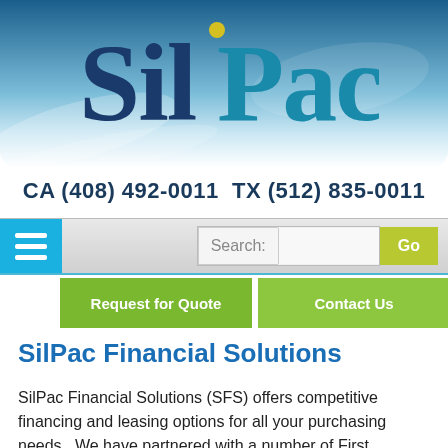[Figure (logo): SilPac company logo in teal/dark blue serif font with a yellow dot above the 'i', on a blue gradient background with light blue decorative shapes]
CA (408) 492-0011  TX (512) 835-0011
[Figure (screenshot): Navigation bar with blue hamburger menu icon on left, and search box with 'Search:' label and green 'Go' button on right]
Request for Quote    Contact Us
SilPac Financial Solutions
SilPac Financial Solutions (SFS) offers competitive financing and leasing options for all your purchasing needs.  We have partnered with a number of First